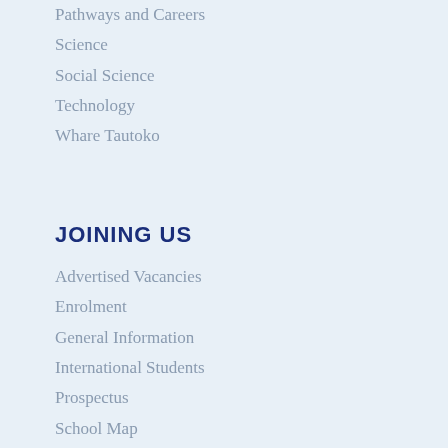Pathways and Careers
Science
Social Science
Technology
Whare Tautoko
JOINING US
Advertised Vacancies
Enrolment
General Information
International Students
Prospectus
School Map
Stationery
Uniform
Zone Information